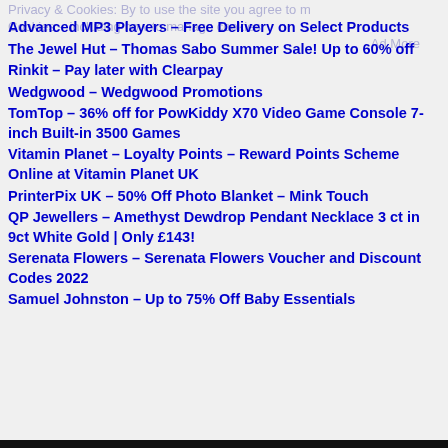Advanced MP3 Players – Free Delivery on Select Products
The Jewel Hut – Thomas Sabo Summer Sale! Up to 60% off
Rinkit – Pay later with Clearpay
Wedgwood – Wedgwood Promotions
TomTop – 36% off for PowKiddy X70 Video Game Console 7-inch Built-in 3500 Games
Vitamin Planet – Loyalty Points – Reward Points Scheme Online at Vitamin Planet UK
PrinterPix UK – 50% Off Photo Blanket – Mink Touch
QP Jewellers – Amethyst Dewdrop Pendant Necklace 3 ct in 9ct White Gold | Only £143!
Serenata Flowers – Serenata Flowers Voucher and Discount Codes 2022
Samuel Johnston – Up to 75% Off Baby Essentials